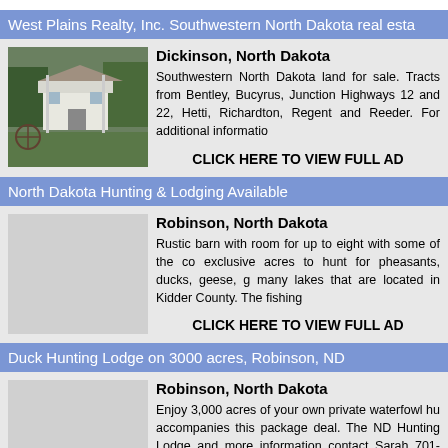West Plains Realty, Inc. Southwestern North Dakota real esta
Dickinson, North Dakota
Southwestern North Dakota land for sale. Tracts from Bentley, Bucyrus, Junction Highways 12 and 22, Hetti, Richardton, Regent and Reeder. For additional informatio
CLICK HERE TO VIEW FULL AD
North Dakota Hunting & Lodging Available
Robinson, North Dakota
Rustic barn with room for up to eight with some of the co exclusive acres to hunt for pheasants, ducks, geese, g many lakes that are located in Kidder County. The fishing
CLICK HERE TO VIEW FULL AD
Duck Hunting Lodge on 3000 acres, Robinson, ND
Robinson, North Dakota
Enjoy 3,000 acres of your own private waterfowl hu accompanies this package deal. The ND Hunting Lodge and more information contact Sarah 701-220-3294 or Fre